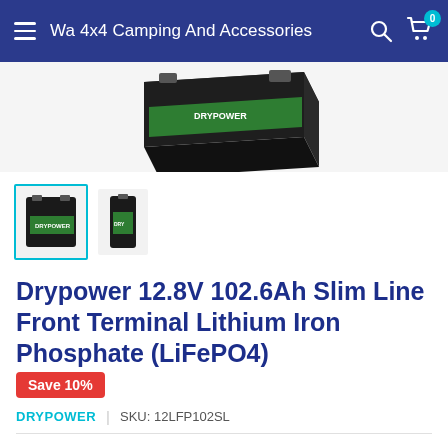Wa 4x4 Camping And Accessories
[Figure (photo): Main product image showing Drypower 12.8V 102.6Ah Slim Line LiFePO4 battery from above, black casing with green label]
[Figure (photo): Selected thumbnail of the Drypower battery (front-facing view, selected with teal border)]
[Figure (photo): Secondary thumbnail of the Drypower battery (standing upright, unselected)]
Drypower 12.8V 102.6Ah Slim Line Front Terminal Lithium Iron Phosphate (LiFePO4)
Save 10%
DRYPOWER | SKU: 12LFP102SL